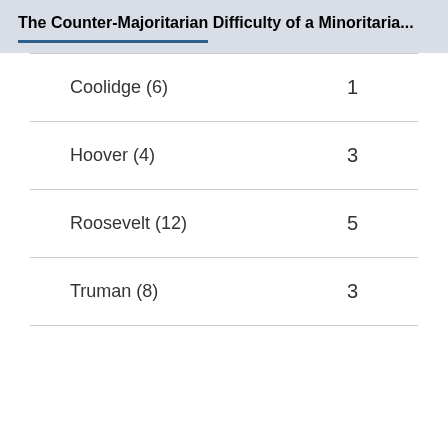The Counter-Majoritarian Difficulty of a Minoritaria...
|  |  |
| --- | --- |
| Coolidge (6) | 1 |
| Hoover (4) | 3 |
| Roosevelt (12) | 5 |
| Truman (8) | 3 |